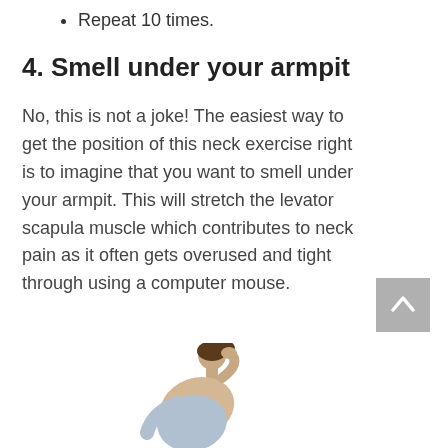Repeat 10 times.
4. Smell under your armpit
No, this is not a joke! The easiest way to get the position of this neck exercise right is to imagine that you want to smell under your armpit. This will stretch the levator scapula muscle which contributes to neck pain as it often gets overused and tight through using a computer mouse.
[Figure (photo): Person performing neck stretch exercise, bending head down toward armpit]